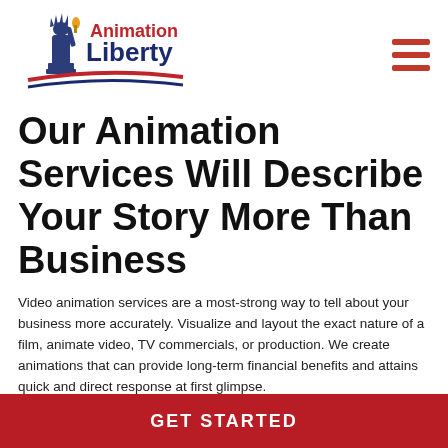[Figure (logo): Animation Liberty logo with Statue of Liberty figure, text 'Animation Liberty' in red and blue, and red/blue swoosh decoration underneath]
Our Animation Services Will Describe Your Story More Than Business
Video animation services are a most-strong way to tell about your business more accurately. Visualize and layout the exact nature of a film, animate video, TV commercials, or production. We create animations that can provide long-term financial benefits and attains quick and direct response at first glimpse.
GET STARTED